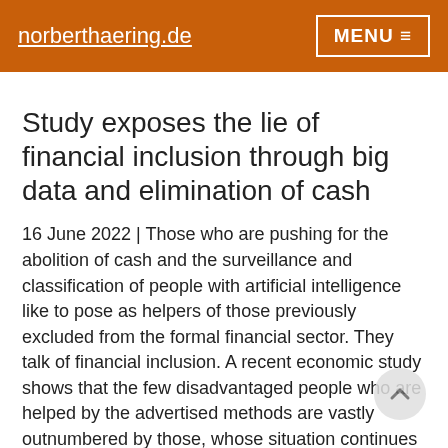norberthaering.de   MENU
Study exposes the lie of financial inclusion through big data and elimination of cash
16 June 2022 | Those who are pushing for the abolition of cash and the surveillance and classification of people with artificial intelligence like to pose as helpers of those previously excluded from the formal financial sector. They talk of financial inclusion. A recent economic study shows that the few disadvantaged people who are helped by the advertised methods are vastly outnumbered by those, whose situation continues deteriorates.
In 2020, the Bank for International Settlements